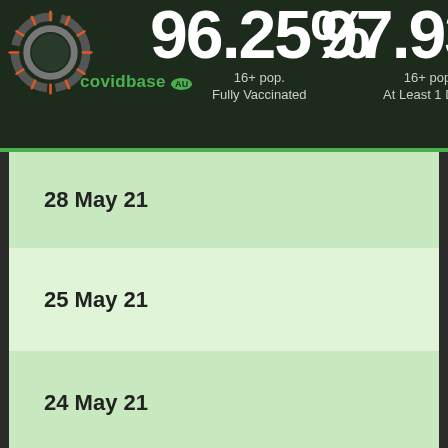covidbase AU — 96.25% 16+ pop. Fully Vaccinated | 97.93% 16+ pop. At Least 1 Dose
| Date | Cases |
| --- | --- |
| 28 May 21 | 0 / 0 |
| 25 May 21 | 3 / 0 |
| 24 May 21 | 3 / 0 |
| 23 May 21 | 3 / 0 |
| 22 May 21 | 3 / ... |